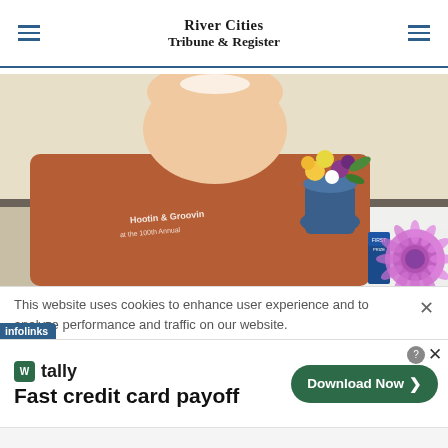River Cities Tribune & Register
[Figure (photo): A smiling person wearing a rust-orange long-sleeve shirt with 'Hootin & Groovin at the 100th Annual...' text visible. On a table to their right is a floral arrangement in a blue vase with yellow and purple flowers, a blue ribbon, and a large purple rosette award ribbon on a white tablecloth.]
This website uses cookies to enhance user experience and to analyze performance and traffic on our website.
[Figure (infographic): Tally advertisement: green Tally icon logo, 'tally' text, headline 'Fast credit card payoff', and a dark green 'Download Now >' button.]